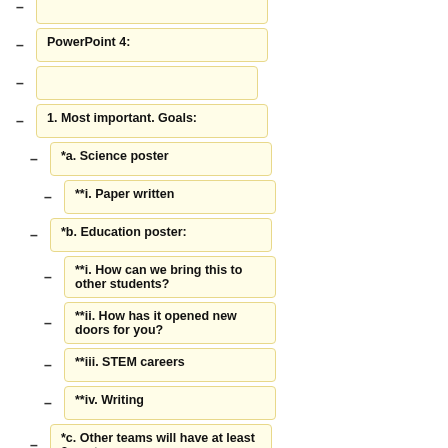PowerPoint 4:
1.    Most important. Goals:
*a.   Science poster
**i.   Paper written
*b.   Education poster:
**i.   How can we bring this to other students?
**ii.  How has it opened new doors for you?
**iii. STEM careers
**iv. Writing
*c.   Other teams will have at least 2 posters